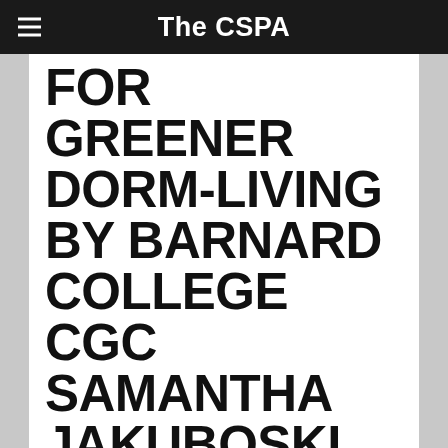The CSPA
FOR GREENER DORM-LIVING BY BARNARD COLLEGE CGC SAMANTHA JAKUBOSKI
You donâ€™t have to give up a life of luxury or be a tree-hugger to go green in your dorm (although there is nothing wrong with embracing the occasional tree now and then.)Â Here are some of my favorite ways to â€œgreenifyâ€� my dorm living.
1. BringÂ a lotÂ ofÂ underwear to college. This way, you wonâ€™t have to do as many loads of